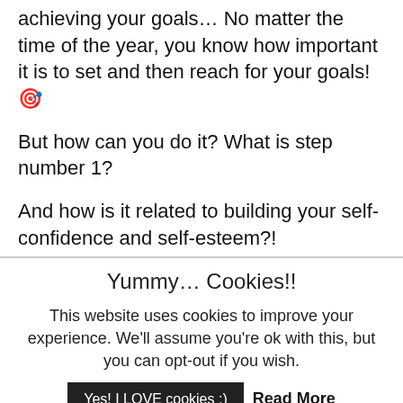achieving your goals… No matter the time of the year, you know how important it is to set and then reach for your goals! 🎯
But how can you do it? What is step number 1?
And how is it related to building your self-confidence and self-esteem?!
Yummy… Cookies!!
This website uses cookies to improve your experience. We'll assume you're ok with this, but you can opt-out if you wish.